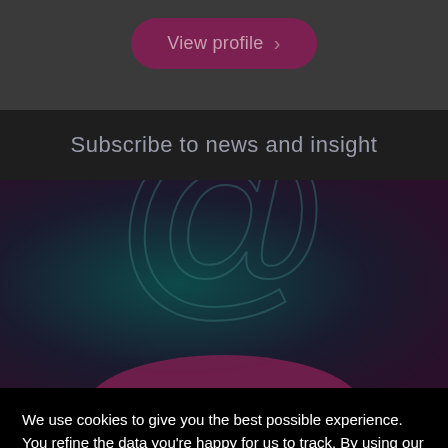[Figure (other): Dark rounded pill-shaped button labeled 'View profile >' in mauve/dark pink color on grey background]
Subscribe to news and insight
[Figure (illustration): Dark decorative background with large @ symbol rendered in teal/dark purple gradient colors, with a mauve/pink curved shape at bottom]
We use cookies to give you the best possible experience. You refine the data you're happy for us to track. By using our site, you agree to our Privacy Policy